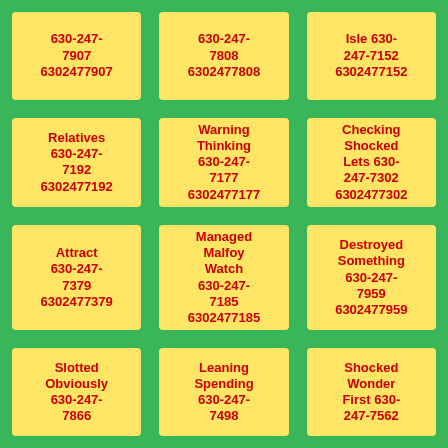630-247-7907 6302477907
630-247-7808 6302477808
Isle 630-247-7152 6302477152
Relatives 630-247-7192 6302477192
Warning Thinking 630-247-7177 6302477177
Checking Shocked Lets 630-247-7302 6302477302
Attract 630-247-7379 6302477379
Managed Malfoy Watch 630-247-7185 6302477185
Destroyed Something 630-247-7959 6302477959
Slotted Obviously 630-247-7866
Leaning Spending 630-247-7498
Shocked Wonder First 630-247-7562